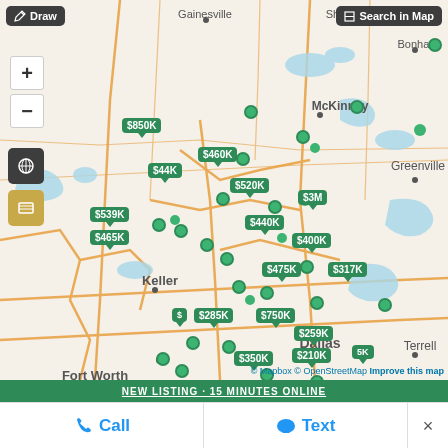[Figure (map): Interactive real estate map of the Dallas–Fort Worth metroplex area in Texas, showing property listings as green price-label pins ($44K, $850K, $460K, $520K, $3M, $539K, $440K, $465K, $400K, $475K, $317K, $285K, $750K, $259K, $350K, $210K, $5K, and others) overlaid on a Mapbox/OpenStreetMap base map. Cities labeled include Gainesville, Sherman, Bonham, McKinney, Greenville, Keller, Fort Worth, Burleson, Terrell, Dallas. Blue water bodies and orange highway routes are visible. Map controls include Draw button, Search in Map button, zoom +/- controls, and map layer toggles.]
NEW LISTING · 15 MINUTES ONLINE
📞 Call
💬 Text